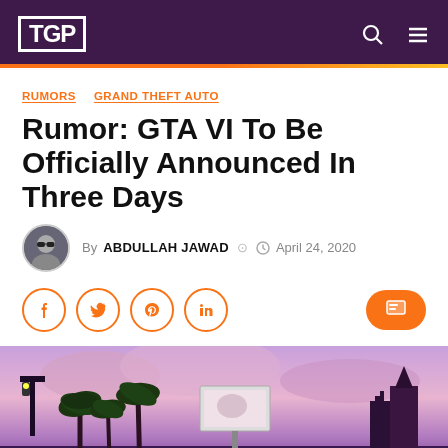TGP - site header with logo, search and menu icons
RUMORS  GRAND THEFT AUTO
Rumor: GTA VI To Be Officially Announced In Three Days
By ABDULLAH JAWAD  April 24, 2020
[Figure (other): Social share buttons (Facebook, Twitter, Pinterest, LinkedIn) and a comment button on the right]
[Figure (photo): GTA-style cityscape with palm trees, a billboard, and a church tower against a purple/pink sunset sky]